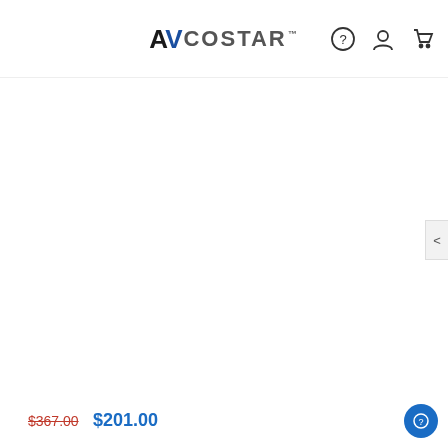[Figure (logo): AV Costar logo with navigation icons: hamburger/search menu on left, AV Costar brand name in center, help/user/cart icons on right]
We use cookies to ensure that we give you the best experience on our website.
PRIVACY POLICY   ACCEPT ✓
$367.00  $201.00   SOLD OUT